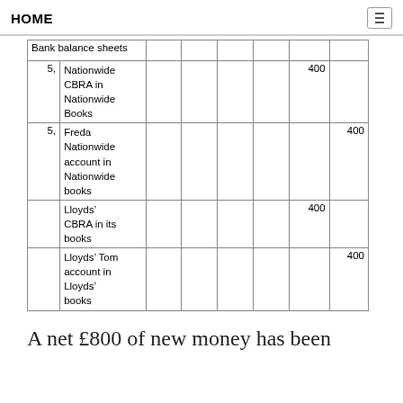HOME
| Bank balance sheets |  |  |  |  |  |  |  |
| --- | --- | --- | --- | --- | --- | --- | --- |
| 5, | Nationwide CBRA in Nationwide Books |  |  |  |  | 400 |  |
| 5, | Freda Nationwide account in Nationwide books |  |  |  |  |  | 400 |
|  | Lloyds' CBRA in its books |  |  |  |  | 400 |  |
|  | Lloyds' Tom account in Lloyds' books |  |  |  |  |  | 400 |
A net £800 of new money has been